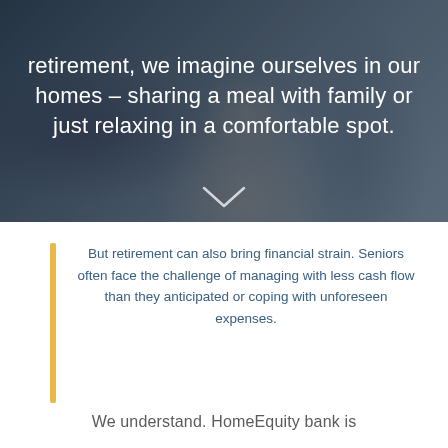[Figure (photo): Background photo of smiling senior woman, overlaid with large white centered quote text about retirement and a chevron arrow pointing down]
retirement, we imagine ourselves in our homes – sharing a meal with family or just relaxing in a comfortable spot.
But retirement can also bring financial strain. Seniors often face the challenge of managing with less cash flow than they anticipated or coping with unforeseen expenses.
We understand. HomeEquity bank is